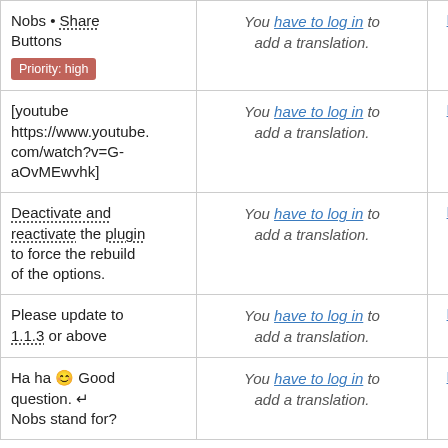| Source | Translation | Action |
| --- | --- | --- |
| Nobs • Share Buttons
[Priority: high] | You have to log in to add a translation. | Details |
| [youtube https://www.youtube.com/watch?v=G-aOvMEwvhk] | You have to log in to add a translation. | Details |
| Deactivate and reactivate the plugin to force the rebuild of the options. | You have to log in to add a translation. | Details |
| Please update to 1.1.3 or above | You have to log in to add a translation. | Details |
| Ha ha 😊 Good question. ↵
Nobs stand for? | You have to log in to add a translation. | Details |